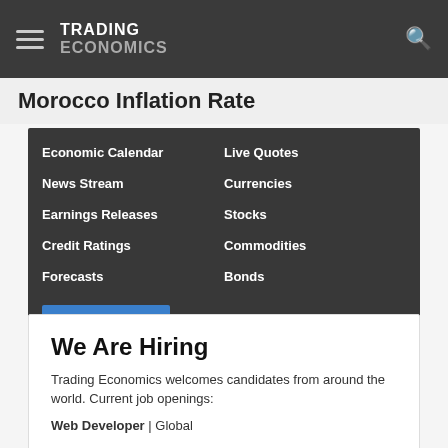TRADING ECONOMICS
Morocco Inflation Rate
Economic Calendar
News Stream
Earnings Releases
Credit Ratings
Forecasts
Live Quotes
Currencies
Stocks
Commodities
Bonds
We Are Hiring
Trading Economics welcomes candidates from around the world. Current job openings:
Web Developer | Global